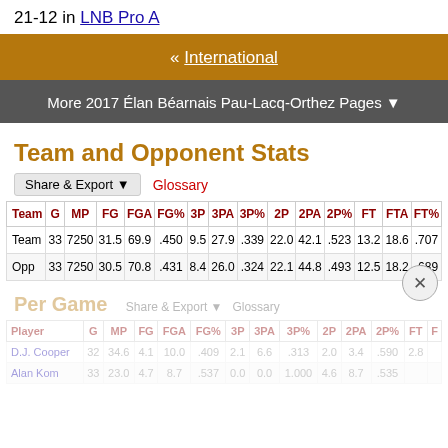21-12 in LNB Pro A
« International
More 2017 Élan Béarnais Pau-Lacq-Orthez Pages ▼
Team and Opponent Stats
Share & Export ▼   Glossary
| Team | G | MP | FG | FGA | FG% | 3P | 3PA | 3P% | 2P | 2PA | 2P% | FT | FTA | FT% |
| --- | --- | --- | --- | --- | --- | --- | --- | --- | --- | --- | --- | --- | --- | --- |
| Team | 33 | 7250 | 31.5 | 69.9 | .450 | 9.5 | 27.9 | .339 | 22.0 | 42.1 | .523 | 13.2 | 18.6 | .707 |
| Opp | 33 | 7250 | 30.5 | 70.8 | .431 | 8.4 | 26.0 | .324 | 22.1 | 44.8 | .493 | 12.5 | 18.2 | .689 |
Per Game
Share & Export ▼   Glossary
| Player | G | MP | FG | FGA | FG% | 3P | 3PA | 3P% | 2P | 2PA | 2P% | FT | F |
| --- | --- | --- | --- | --- | --- | --- | --- | --- | --- | --- | --- | --- | --- |
| D.J. Cooper | 32 | 34.6 | 4.1 | 10.0 | .409 | 2.1 | 6.6 | .313 | 2.0 | 3.4 | .590 | 2.8 |  |
| Alan Kom | 33 | 23.0 | 4.7 | 8.7 | .537 | 0.0 | 0.0 | 1.000 | 4.6 | 8.7 | .535 |  |